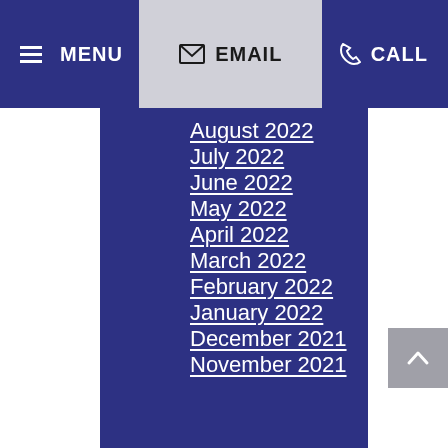MENU  EMAIL  CALL
August 2022
July 2022
June 2022
May 2022
April 2022
March 2022
February 2022
January 2022
December 2021
November 2021